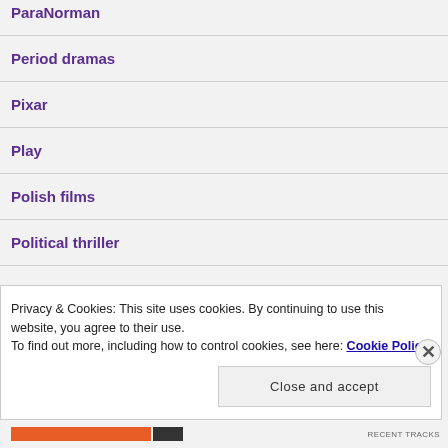ParaNorman
Period dramas
Pixar
Play
Polish films
Political thriller
Privacy & Cookies: This site uses cookies. By continuing to use this website, you agree to their use.
To find out more, including how to control cookies, see here: Cookie Policy
Close and accept